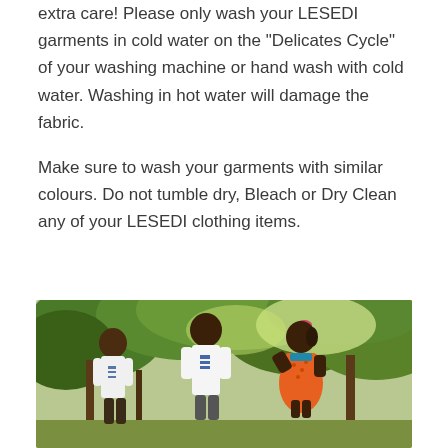extra care! Please only wash your LESEDI garments in cold water on the "Delicates Cycle" of your washing machine or hand wash with cold water. Washing in hot water will damage the fabric.

Make sure to wash your garments with similar colours. Do not tumble dry, Bleach or Dry Clean any of your LESEDI clothing items.
[Figure (photo): Three young children standing outdoors in front of green trees. Two boys and a girl, with the girl appearing to whisper into one of the boys' ears. The children are wearing casual clothing.]